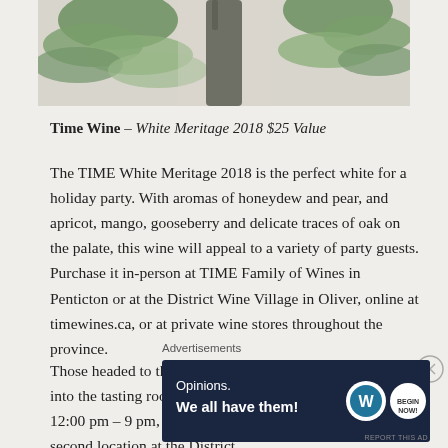[Figure (photo): Photo of wine bottle with green foliage on a light background]
Time Wine – White Meritage 2018 $25 Value
The TIME White Meritage 2018 is the perfect white for a holiday party. With aromas of honeydew and pear, and apricot, mango, gooseberry and delicate traces of oak on the palate, this wine will appeal to a variety of party guests. Purchase it in-person at TIME Family of Wines in Penticton or at the District Wine Village in Oliver, online at timewines.ca, or at private wine stores throughout the province.
Those headed to the Okanagan for the holidays can pop into the tasting room and TIME Kitchen Wed-Sun, 12:00 pm – 9 pm, or visit the winery's newly launched second location at the District
Advertisements
[Figure (screenshot): Advertisement banner with dark blue background reading 'Opinions. We all have them!' with WordPress and another logo]